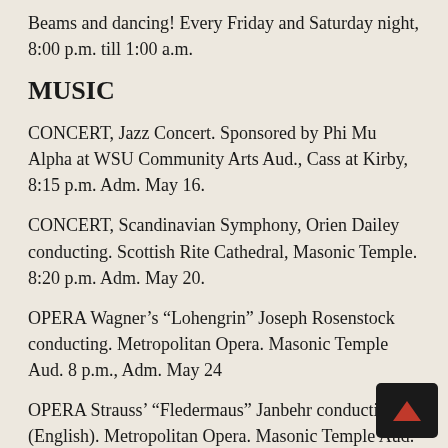Beams and dancing! Every Friday and Saturday night, 8:00 p.m. till 1:00 a.m.
MUSIC
CONCERT, Jazz Concert. Sponsored by Phi Mu Alpha at WSU Community Arts Aud., Cass at Kirby, 8:15 p.m. Adm. May 16.
CONCERT, Scandinavian Symphony, Orien Dailey conducting. Scottish Rite Cathedral, Masonic Temple. 8:20 p.m. Adm. May 20.
OPERA Wagner’s “Lohengrin” Joseph Rosenstock conducting. Metropolitan Opera. Masonic Temple Aud. 8 p.m., Adm. May 24
OPERA Strauss’ “Fledermaus” Janbehr conducting (English). Metropolitan Opera. Masonic Temple Aud. 8 p.m., Adm. May 25.
OPERA Ponchielli’s “La Gioconda” Fausto Cleva conducting. Masonic Temple Aud. 8 p.m. Adm. May 26